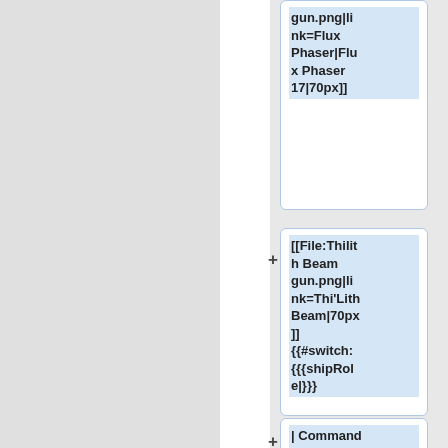gun.png|link=Flux Phaser|Flux Phaser 17|70px]]
[[File:Thilith Beam gun.png|link=Thi'Lith Beam|70px]] {{#switch: {{{shipRole|}}}}
| Command = [[File:Phaser gun.png|link=Phaser|Phaser 17|70px]] }} {{#switch: